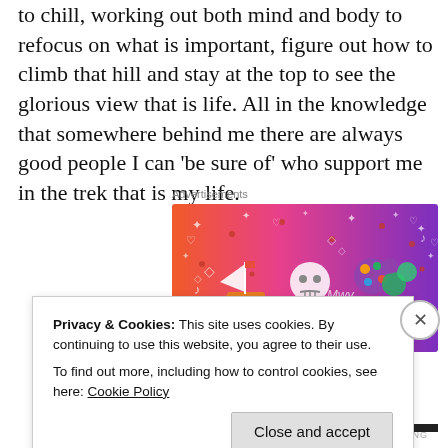to chill, working out both mind and body to refocus on what is important, figure out how to climb that hill and stay at the top to see the glorious view that is life. All in the knowledge that somewhere behind me there are always good people I can 'be sure of' who support me in the trek that is my life.
Advertisements
[Figure (illustration): Fandom advertisement banner with gradient background from pink/orange to purple, featuring cartoon illustrations of a sailboat, skull, dice, flowers, and the word FANDOM in large block letters at the bottom.]
Privacy & Cookies: This site uses cookies. By continuing to use this website, you agree to their use.
To find out more, including how to control cookies, see here: Cookie Policy